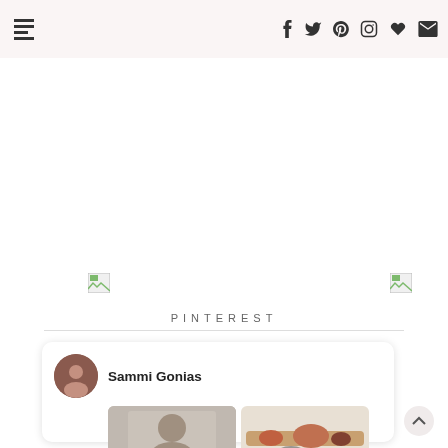Navigation header with menu icon and social icons: Facebook, Twitter, Pinterest, Instagram, heart, email
[Figure (photo): Three broken image placeholders in a row on white background]
PINTEREST
[Figure (screenshot): Pinterest widget card showing user Sammi Gonias with avatar and two photo thumbnails]